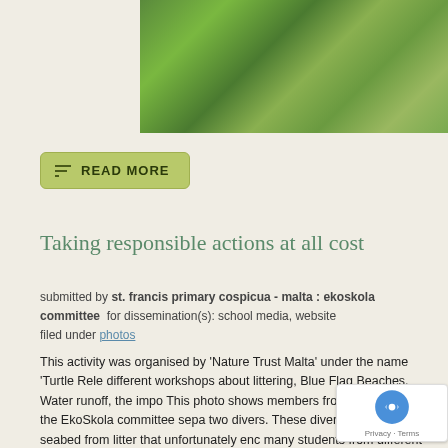[Figure (photo): Close-up photo of green wildflowers and grass vegetation, cropped at top of page]
READ MORE
Taking responsible actions at all cost
submitted by st. francis primary cospicua - malta : ekoskola committee  for dissemination(s): school media, website
filed under photos
This activity was organised by 'Nature Trust Malta' under the name 'Turtle Rele different workshops about littering, Blue Flag Beaches, Water runoff, the impo This photo shows members from our school of the EkoSkola committee sepa two divers. These divers cleaned the seabed from litter that unfortunately enc many students from different schools, but the only students who separated the sea were students from our school. They felt so responsible t themselves to do the job. EkoSkola representatives guided the st